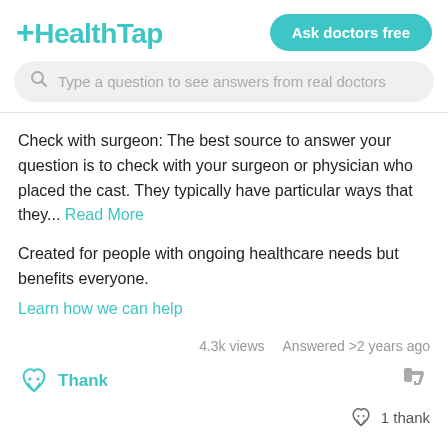+HealthTap | Ask doctors free
Type a question to see answers from real doctors
Check with surgeon: The best source to answer your question is to check with your surgeon or physician who placed the cast. They typically have particular ways that they... Read More
Created for people with ongoing healthcare needs but benefits everyone.
Learn how we can help
4.3k views   Answered >2 years ago
Thank
1 thank